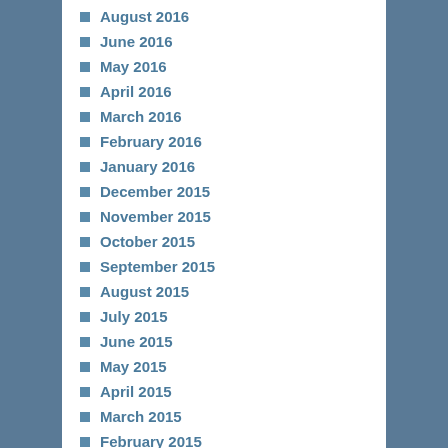August 2016
June 2016
May 2016
April 2016
March 2016
February 2016
January 2016
December 2015
November 2015
October 2015
September 2015
August 2015
July 2015
June 2015
May 2015
April 2015
March 2015
February 2015
January 2015
December 2014
November 2014
October 2014